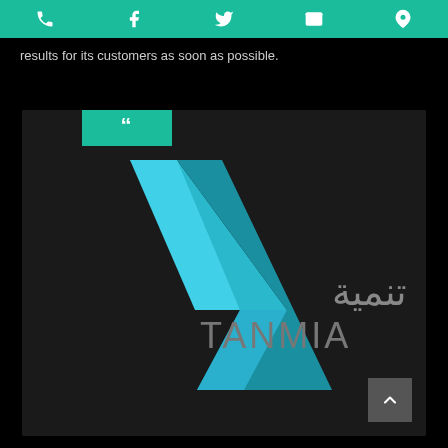Navigation bar with phone, Facebook, Twitter, email, and location icons
results for its customers as soon as possible.
[Figure (logo): Tanmia company logo: teal geometric arrow/lightning bolt shape on dark background with Arabic text تنمية and Latin text TANMIA, with a teal quote mark badge in upper left corner]